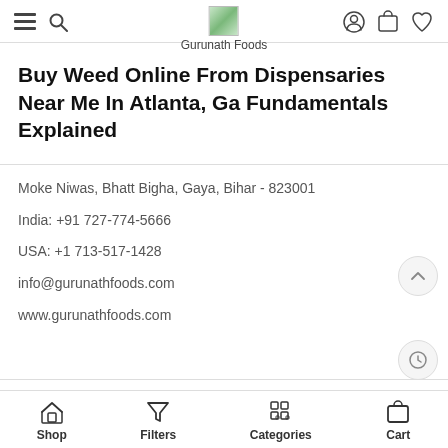Gurunath Foods
Buy Weed Online From Dispensaries Near Me In Atlanta, Ga Fundamentals Explained
Moke Niwas, Bhatt Bigha, Gaya, Bihar - 823001
India: +91 727-774-5666
USA: +1 713-517-1428
info@gurunathfoods.com
www.gurunathfoods.com
Shop  Filters  Categories  Cart